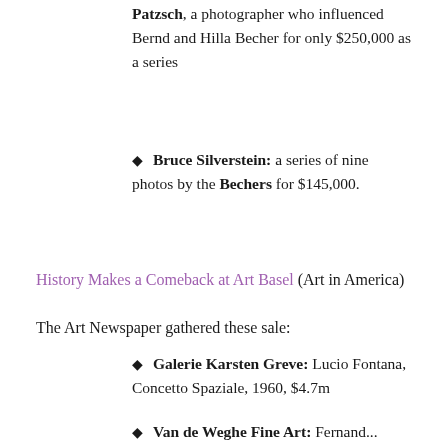Patzsch, a photographer who influenced Bernd and Hilla Becher for only $250,000 as a series
Bruce Silverstein: a series of nine photos by the Bechers for $145,000.
History Makes a Comeback at Art Basel (Art in America)
The Art Newspaper gathered these sale:
Galerie Karsten Greve: Lucio Fontana, Concetto Spaziale, 1960, $4.7m
Van de Weghe Fine Art: Fernand...